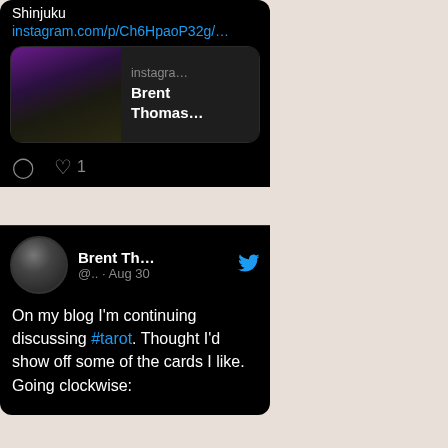Shinjuku
instagram.com/p/Ch6HpaoP32g/...
[Figure (screenshot): Instagram link preview showing a dark photo thumbnail with a person, titled 'Brent Thomas...' from 'instagra...']
♡ 1
[Figure (screenshot): Twitter/X post by Brent Th... (@.. · Aug 30) with Twitter bird logo, avatar of person holding instrument]
On my blog I'm continuing discussing #tarot. Thought I'd show off some of the cards I like.
Going clockwise: